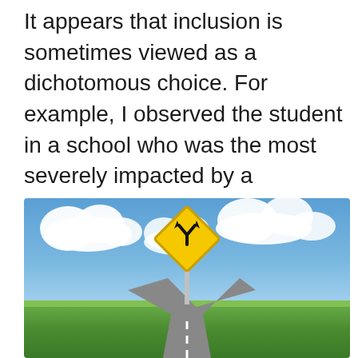It appears that inclusion is sometimes viewed as a dichotomous choice. For example, I observed the student in a school who was the most severely impacted by a disability sitting in a grade level history class during a lesson communism. This was an effort to provide inclusion but was he was experiencing proximity.
[Figure (photo): A yellow diamond-shaped road sign showing a Y-intersection symbol, mounted on a metal post, against a blue sky with white clouds and green fields below.]